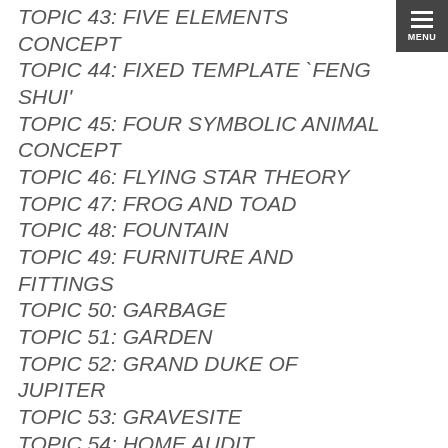[Figure (other): Dark grey menu button with three horizontal lines and 'MENU' text in top right corner]
TOPIC 43: FIVE ELEMENTS CONCEPT
TOPIC 44: FIXED TEMPLATE `FENG SHUI'
TOPIC 45: FOUR SYMBOLIC ANIMAL CONCEPT
TOPIC 46: FLYING STAR THEORY
TOPIC 47: FROG AND TOAD
TOPIC 48: FOUNTAIN
TOPIC 49: FURNITURE AND FITTINGS
TOPIC 50: GARBAGE
TOPIC 51: GARDEN
TOPIC 52: GRAND DUKE OF JUPITER
TOPIC 53: GRAVESITE
TOPIC 54: HOME AUDIT
TOPIC 55: HOSPITAL
TOPIC 56: HOUSE
TOPIC 57: HOUSE NUMBER